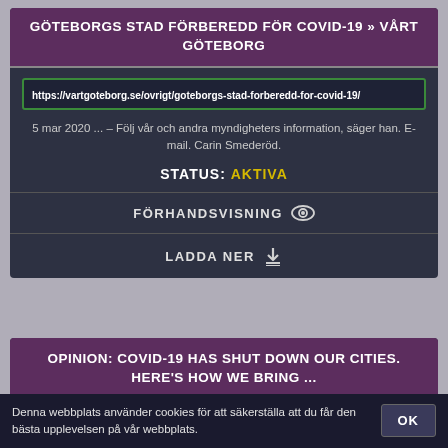GÖTEBORGS STAD FÖRBEREDD FÖR COVID-19 » VÅRT GÖTEBORG
https://vartgoteborg.se/ovrigt/goteborgs-stad-forberedd-for-covid-19/
5 mar 2020 ... – Följ vår och andra myndigheters information, säger han. E-mail. Carin Smederöd.
STATUS: AKTIVA
FÖRHANDSVISNING 👁
LADDA NER ⬇
OPINION: COVID-19 HAS SHUT DOWN OUR CITIES. HERE'S HOW WE BRING ...
Denna webbplats använder cookies för att säkerställa att du får den bästa upplevelsen på vår webbplats.